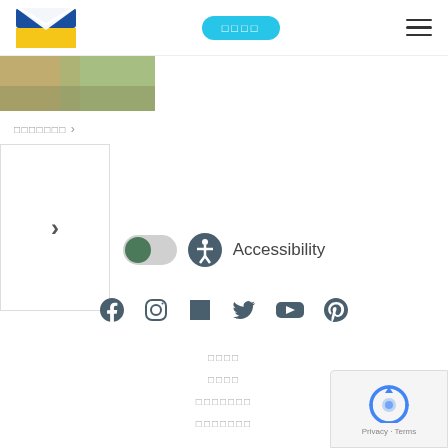[Figure (logo): Blue and yellow envelope logo]
□□□□
[Figure (illustration): Hamburger menu icon (three horizontal lines)]
[Figure (photo): Partial image strip showing outdoor/nature scene]
□□□□□□□ ›
[Figure (illustration): Navigation card with right chevron arrow]
[Figure (infographic): Accessibility toggle switch and icon with text 'Accessibility']
[Figure (infographic): Social media icons: Facebook, Instagram, LinkedIn, Twitter, YouTube, Pinterest]
□□□□
□□□□
□□□□□□□
□□□□□□□
[Figure (other): Google reCAPTCHA badge with Privacy and Terms text]